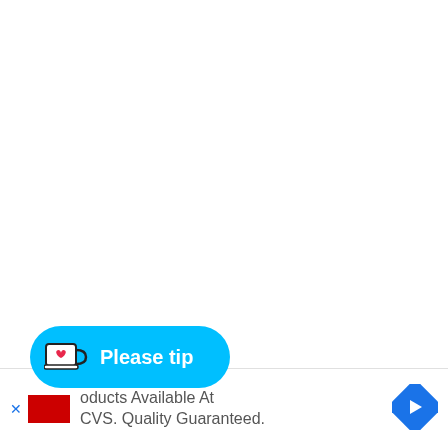[Figure (screenshot): A 'Please tip' button with a cyan/light-blue rounded pill background, containing a white coffee cup icon with a red heart, and white bold text reading 'Please tip'.]
oducts Available At CVS. Quality Guaranteed.